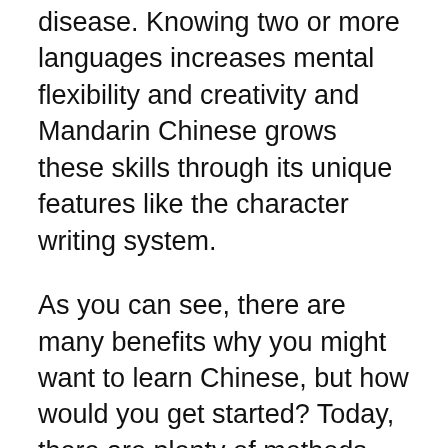disease. Knowing two or more languages increases mental flexibility and creativity and Mandarin Chinese grows these skills through its unique features like the character writing system.
As you can see, there are many benefits why you might want to learn Chinese, but how would you get started? Today, there are plenty of methods – from learning in the classroom, learning from home using a private tutor or teacher, to learning with online apps or even Chinese immersion.
Are you ready to start learning Mandarin Chinese in Augusta GA the fastest way? Check out our #1 recommendation for learning Chinese below...